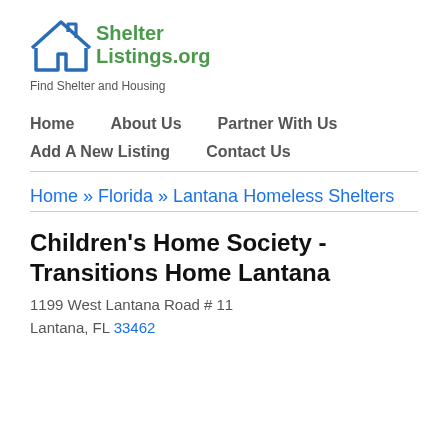[Figure (logo): ShelterListings.org logo with house outline icon in blue and green text, tagline 'Find Shelter and Housing']
Home   About Us   Partner With Us   Add A New Listing   Contact Us
Home » Florida » Lantana Homeless Shelters
Children's Home Society - Transitions Home Lantana
1199 West Lantana Road # 11
Lantana, FL 33462